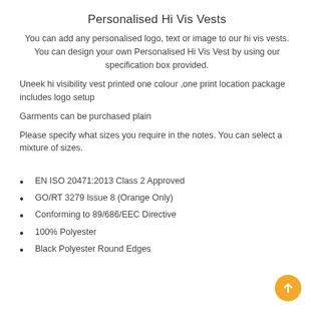Personalised Hi Vis Vests
You can add any personalised logo, text or image to our hi vis vests. You can design your own Personalised Hi Vis Vest by using our specification box provided.
Uneek hi visibility vest printed one colour ,one print location package includes logo setup
Garments can be purchased plain
Please specify what sizes you require in the notes. You can select a mixture of sizes.
EN ISO 20471:2013 Class 2 Approved
GO/RT 3279 Issue 8 (Orange Only)
Conforming to 89/686/EEC Directive
100% Polyester
Black Polyester Round Edges